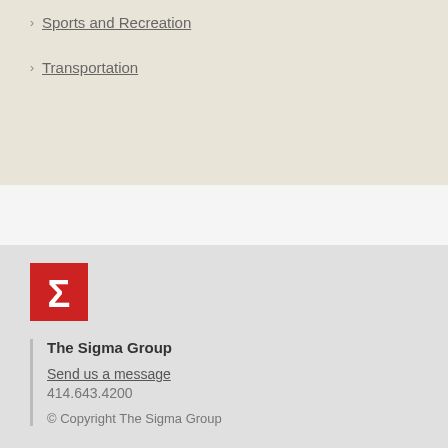Sports and Recreation
Transportation
[Figure (logo): The Sigma Group red logo square with white sigma symbol]
The Sigma Group
Send us a message
414.643.4200
© Copyright The Sigma Group